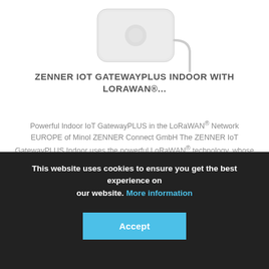[Figure (photo): White flat square IoT gateway device with a cable, viewed from above, on white background]
ZENNER IOT GATEWAYPLUS INDOOR WITH LORAWAN®...
Powerful Indoor IoT GatewayPLUS in the LoRaWAN® Network EUROPE of Minol ZENNER Connect GmbH The ZENNER IoT GatewayPLUS Indoor uses the powerful LoRaWAN® technology, whose excellent building penetration and wide-area network
339.00€ *
♥ Remember
This website uses cookies to ensure you get the best experience on our website. More information
Accept